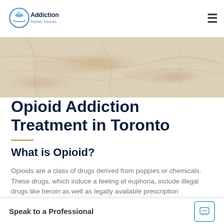Addiction Rehab Toronto
[Figure (illustration): Marble/stone texture hero banner image in tan and beige tones]
Opioid Addiction Treatment in Toronto
What is Opioid?
Opioids are a class of drugs derived from poppies or chemicals. These drugs, which induce a feeling of euphoria, include illegal drugs like heroin as well as legally available prescription medications like Percoce... opioids can be physical o... both, this is not always th...
Speak to a Professional